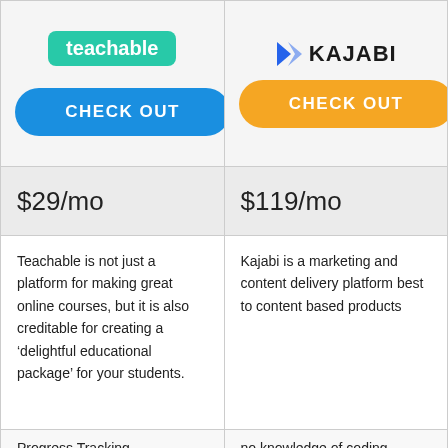[Figure (logo): Teachable logo on teal/green rounded rectangle background]
[Figure (logo): Kajabi logo with blue K icon and bold KAJABI text]
CHECK OUT
CHECK OUT
$29/mo
$119/mo
Teachable is not just a platform for making great online courses, but it is also creditable for creating a ‘delightful educational package’ for your students.
Kajabi is a marketing and content delivery platform best to content based products
Progress Tracking
Community Of Teachers
no knowledge of coding required